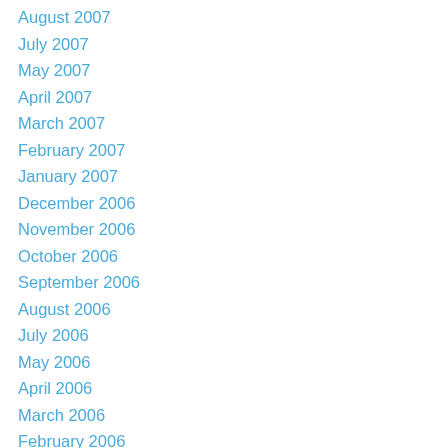August 2007
July 2007
May 2007
April 2007
March 2007
February 2007
January 2007
December 2006
November 2006
October 2006
September 2006
August 2006
July 2006
May 2006
April 2006
March 2006
February 2006
January 2006
December 2005
October 2005